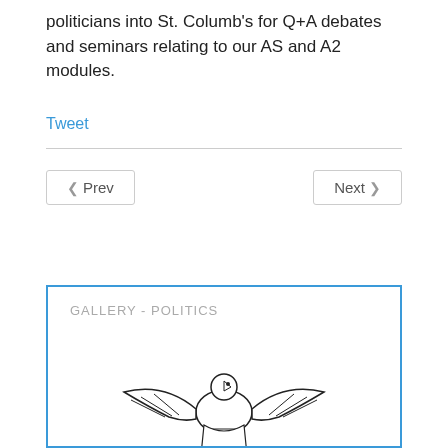politicians into St. Columb's for Q+A debates and seminars relating to our AS and A2 modules.
Tweet
‹ Prev
Next ›
GALLERY - POLITICS
[Figure (logo): School crest/logo showing a bird with spread wings above a banner reading 'RITE PRIMUM REGE']